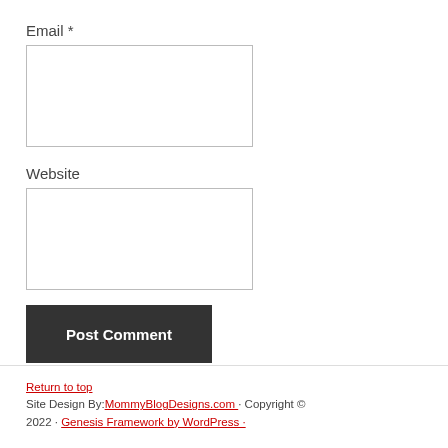Email *
[Figure (other): Email input text field (empty)]
Website
[Figure (other): Website input text field (empty)]
Post Comment
Return to top
Site Design By: MommyBlogDesigns.com · Copyright © 2022 · Genesis Framework by WordPress ·